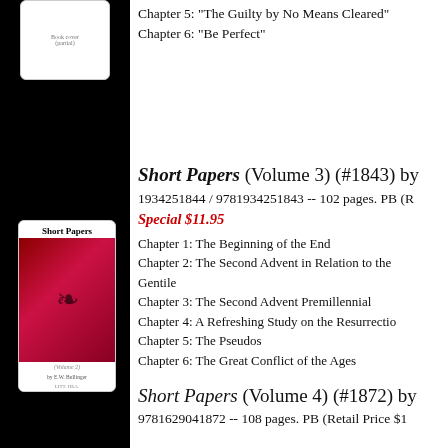[Figure (illustration): Book cover image top (partially visible)]
Chapter 5: "The Guilty by No Means Cleared"
Chapter 6: "Be Perfect"
[Figure (illustration): Short Papers Volume 2 book cover with decorative floral art on red/magenta background]
Short Papers (Volume 3) (#1843) by ...
1934251844 / 9781934251843 -- 102 pages. PB (R...
Special $11.95
Chapter 1: The Beginning of the End
Chapter 2: The Second Advent in Relation to the Gentile
Chapter 3: The Second Advent Premillennial
Chapter 4: A Refreshing Study on the Resurrection
Chapter 5: The Pseudos
Chapter 6: The Great Conflict of the Ages
Short Papers (Volume 4) (#1872) by ...
9781629041872 -- 108 pages. PB (Retail Price $1...